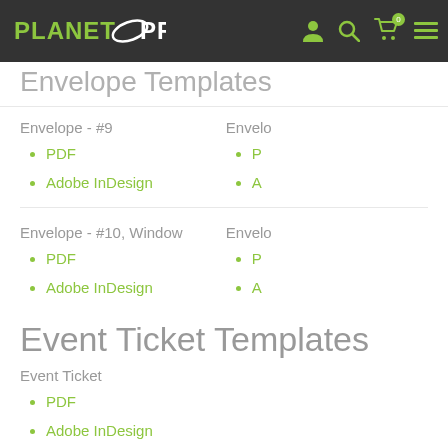Planet Printer — navigation bar with logo and icons
Envelope Templates
Envelope - #9
PDF
Adobe InDesign
Envelope - (right column, clipped)
P (clipped)
A (clipped)
Envelope - #10, Window
PDF
Adobe InDesign
Envelo (right column, clipped)
P (clipped)
A (clipped)
Event Ticket Templates
Event Ticket
PDF
Adobe InDesign